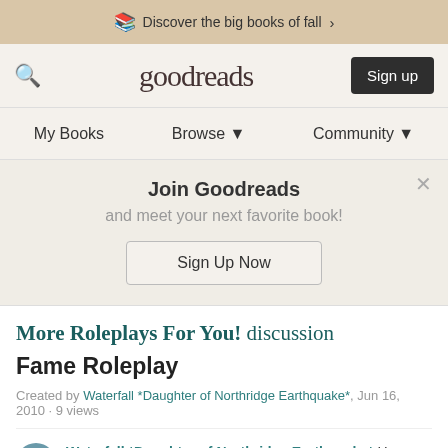Discover the big books of fall >
[Figure (screenshot): Goodreads navigation bar with search icon, goodreads logo, and Sign up button]
My Books   Browse ▼   Community ▼
Join Goodreads and meet your next favorite book! Sign Up Now
More Roleplays For You! discussion
Fame Roleplay
Created by Waterfall *Daughter of Northridge Earthquake*, Jun 16, 2010 · 9 views
Waterfall *Daughter of Northridge Earthquake* Here we